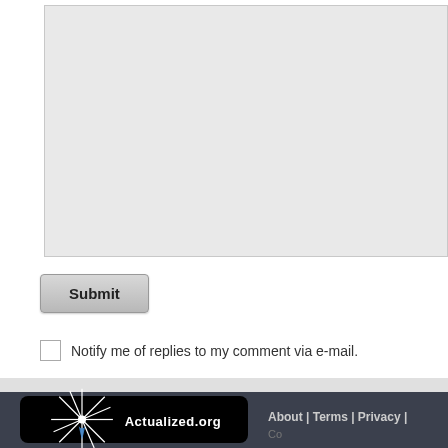[Figure (screenshot): Partial textarea input box with light grey background, cropped at top]
Submit
Notify me of replies to my comment via e-mail.
[Figure (logo): Actualized.org logo: black rounded rectangle with starburst/light ray graphic above text 'Actualized.org' in white]
About | Terms | Privacy | Co